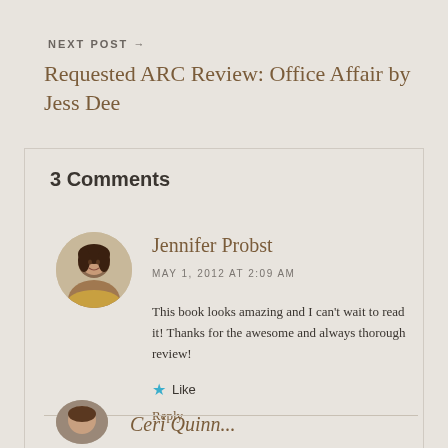NEXT POST →
Requested ARC Review: Office Affair by Jess Dee
3 Comments
[Figure (photo): Avatar photo of Jennifer Probst, a woman with dark hair]
Jennifer Probst
MAY 1, 2012 AT 2:09 AM
This book looks amazing and I can't wait to read it! Thanks for the awesome and always thorough review!
★ Like
Reply
[Figure (photo): Partial avatar photo of next commenter, partially visible at bottom]